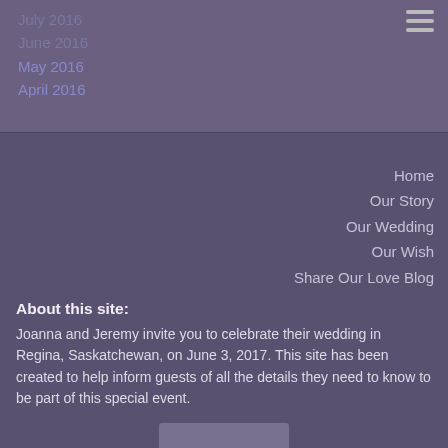July 2016
June 2016
May 2016
April 2016
Home
Our Story
Our Wedding
Our Wish
Share Our Love Blog
About this site:
Joanna and Jeremy invite you to celebrate their wedding in Regina, Saskatchewan, on June 3, 2017. This site has been created to help inform guests of all the details they need to know to be part of this special event.
[Figure (photo): Partial photo of a person visible at bottom of page]